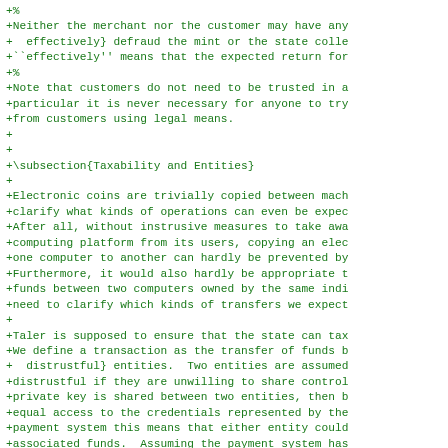+%
+Neither the merchant nor the customer may have any
+  effectively} defraud the mint or the state colle
+``effectively'' means that the expected return for
+%
+Note that customers do not need to be trusted in a
+particular it is never necessary for anyone to try
+from customers using legal means.
+
+
+\subsection{Taxability and Entities}
+
+Electronic coins are trivially copied between mach
+clarify what kinds of operations can even be expec
+After all, without instrusive measures to take awa
+computing platform from its users, copying an elec
+one computer to another can hardly be prevented by
+Furthermore, it would also hardly be appropriate t
+funds between two computers owned by the same indi
+need to clarify which kinds of transfers we expect
+
+Taler is supposed to ensure that the state can tax
+We define a transaction as the transfer of funds b
+  distrustful} entities.  Two entities are assumed
+distrustful if they are unwilling to share control
+private key is shared between two entities, then b
+equal access to the credentials represented by the
+payment system this means that either entity could
+associated funds.  Assuming the payment system has
+double-spending detection, this means that either